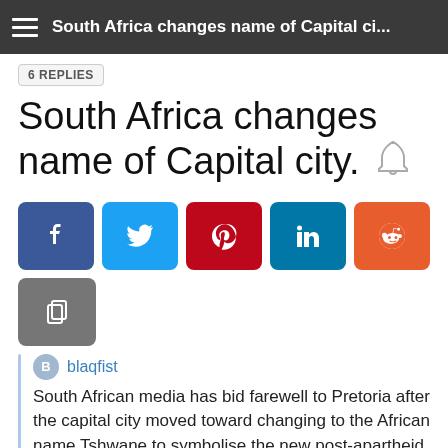South Africa changes name of Capital ci...
6 REPLIES
South Africa changes name of Capital city.
[Figure (other): Social sharing buttons: Facebook (blue), Twitter (light blue), Pinterest (red), LinkedIn (teal), Reddit (orange), and a copy button (gray)]
blaqfist
South African media has bid farewell to Pretoria after the capital city moved toward changing to the African name Tshwane to symbolise the new post-apartheid nation.